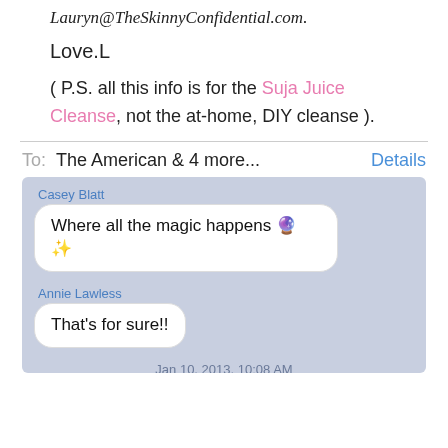Lauryn@TheSkinnyConfidential.com.
Love.L
( P.S. all this info is for the Suja Juice Cleanse, not the at-home, DIY cleanse ).
To:  The American & 4 more...   Details
[Figure (screenshot): iMessage conversation screenshot with blue-gray background. Casey Blatt: 'Where all the magic happens 🔮✨'. Annie Lawless: 'That's for sure!!'. Timestamp: Jan 10, 2013, 10:08 AM]